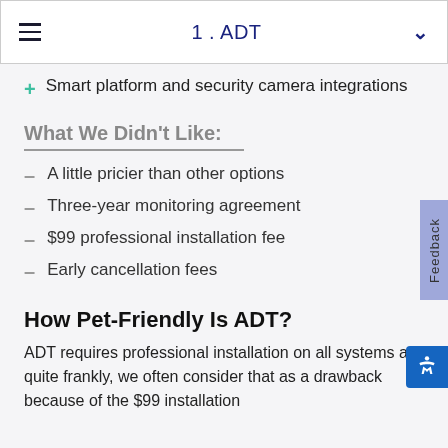1. ADT
Smart platform and security camera integrations
What We Didn't Like:
A little pricier than other options
Three-year monitoring agreement
$99 professional installation fee
Early cancellation fees
How Pet-Friendly Is ADT?
ADT requires professional installation on all systems and quite frankly, we often consider that as a drawback because of the $99 installation